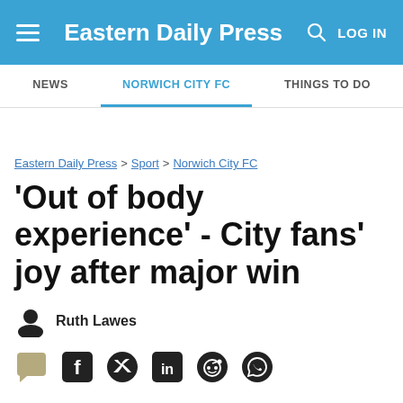Eastern Daily Press — LOG IN
NEWS | NORWICH CITY FC | THINGS TO DO
Eastern Daily Press > Sport > Norwich City FC
'Out of body experience' - City fans' joy after major win
Ruth Lawes